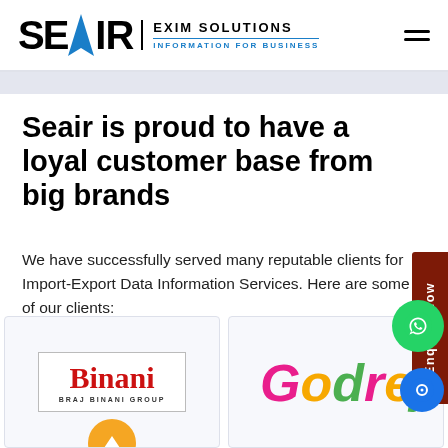SEAIR EXIM SOLUTIONS — INFORMATION FOR BUSINESS
Seair is proud to have a loyal customer base from big brands
We have successfully served many reputable clients for Import-Export Data Information Services. Here are some of our clients:
[Figure (logo): Binani / Braj Binani Group logo]
[Figure (logo): Godrej logo in multicolor script]